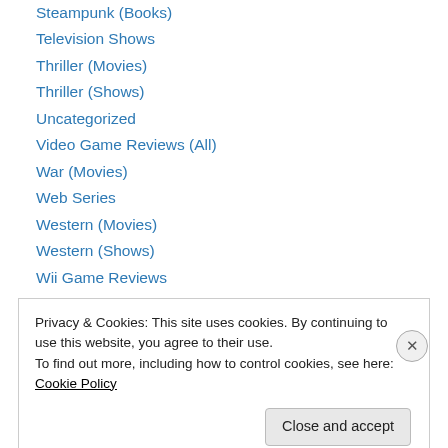Steampunk (Books)
Television Shows
Thriller (Movies)
Thriller (Shows)
Uncategorized
Video Game Reviews (All)
War (Movies)
Web Series
Western (Movies)
Western (Shows)
Wii Game Reviews
X-Box 360 Game Reviews
Privacy & Cookies: This site uses cookies. By continuing to use this website, you agree to their use. To find out more, including how to control cookies, see here: Cookie Policy